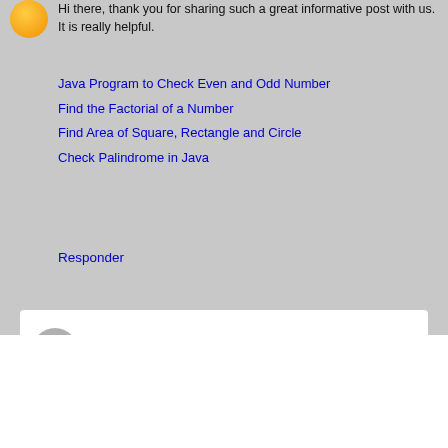Hi there, thank you for sharing such a great informative post with us. It is really helpful.
Java Program to Check Even and Odd Number
Find the Factorial of a Number
Find Area of Square, Rectangle and Circle
Check Palindrome in Java
Responder
[Figure (screenshot): Comment input box with gray avatar and 'Escribir comentario' placeholder text]
Cargar más...
Página Principal
Ver la versión web